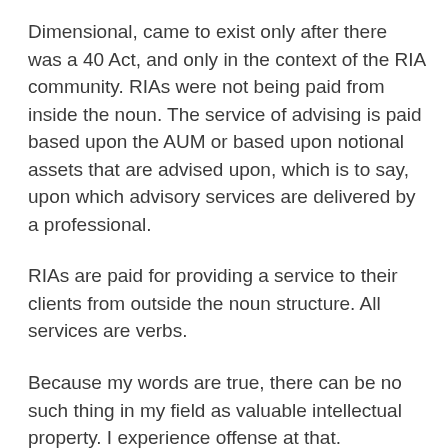Dimensional, came to exist only after there was a 40 Act, and only in the context of the RIA community. RIAs were not being paid from inside the noun. The service of advising is paid based upon the AUM or based upon notional assets that are advised upon, which is to say, upon which advisory services are delivered by a professional.
RIAs are paid for providing a service to their clients from outside the noun structure. All services are verbs.
Because my words are true, there can be no such thing in my field as valuable intellectual property. I experience offense at that.